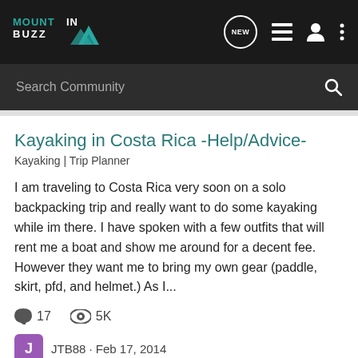MountainBuzz navigation bar with logo and search
Kayaking in Costa Rica -Help/Advice-
Kayaking | Trip Planner
I am traveling to Costa Rica very soon on a solo backpacking trip and really want to do some kayaking while im there. I have spoken with a few outfits that will rent me a boat and show me around for a decent fee. However they want me to bring my own gear (paddle, skirt, pfd, and helmet.) As I...
17 comments · 5K views
JTB88 · Feb 17, 2014
costa rica
kayaking
Costa Rica New Year...